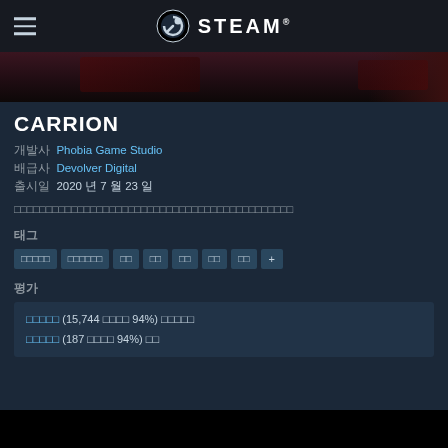STEAM
[Figure (screenshot): Game banner/header image for CARRION with dark red tones]
CARRION
개발사 Phobia Game Studio
배급사 Devolver Digital
출시일 2020 년 7 월 23 일
한 눈에 정의하기 힘든 알 수 없는 생물체가 된 플레이어의 공포 게임입니다
태그
인디게임 | 액션어드벤처 | 공포 | 플랫폼 | 퍼즐 | 픽셀 | 탈출 | +
평가
매우 긍정적 (15,744 개의 평가 중 94%) 모든 평가 / 최근 평가 매우 긍정적 (187 개의 평가 중 94%) 최근 평가
[Figure (screenshot): Black bottom banner area]